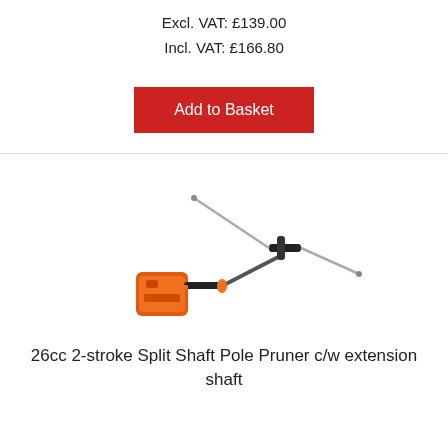Excl. VAT: £139.00
Incl. VAT: £166.80
[Figure (other): Red 'Add to Basket' button]
[Figure (photo): 26cc 2-stroke Split Shaft Pole Pruner with extension shaft - orange and black power tool with two long pole attachments]
26cc 2-stroke Split Shaft Pole Pruner c/w extension shaft